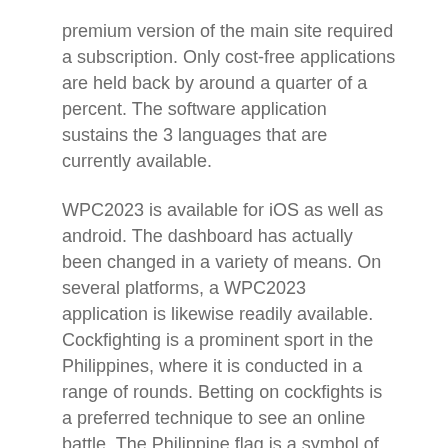premium version of the main site required a subscription. Only cost-free applications are held back by around a quarter of a percent. The software application sustains the 3 languages that are currently available.
WPC2023 is available for iOS as well as android. The dashboard has actually been changed in a variety of means. On several platforms, a WPC2023 application is likewise readily available. Cockfighting is a prominent sport in the Philippines, where it is conducted in a range of rounds. Betting on cockfights is a preferred technique to see an online battle. The Philippine flag is a symbol of possibility, and also its citizens are prepared to defend their nation if necessary.